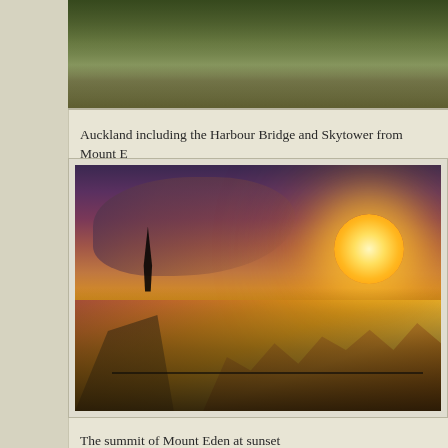[Figure (photo): Aerial or elevated view of Auckland including green landscape, partially visible at top of page]
Auckland including the Harbour Bridge and Skytower from Mount E…
[Figure (photo): Sunset view from the summit of Mount Eden showing a tall triangular obelisk/trig marker silhouetted against a dramatic orange and purple sky, with golden grassland and a fenced path in the foreground, people visible near the summit]
The summit of Mount Eden at sunset